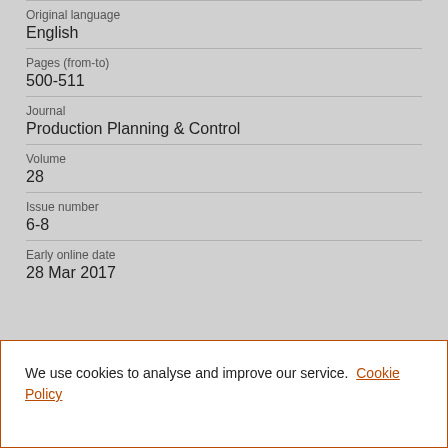Original language
English
Pages (from-to)
500-511
Journal
Production Planning & Control
Volume
28
Issue number
6-8
Early online date
28 Mar 2017
We use cookies to analyse and improve our service. Cookie Policy